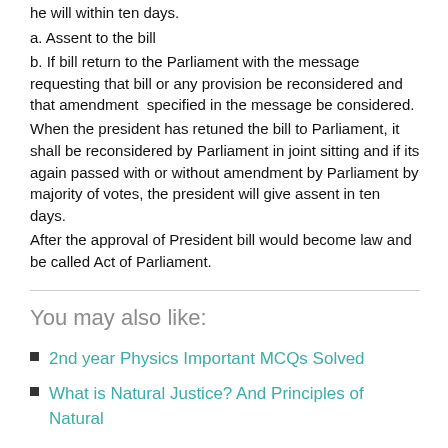he will within ten days.
a. Assent to the bill
b. If bill return to the Parliament with the message requesting that bill or any provision be reconsidered and that amendment  specified in the message be considered.
When the president has retuned the bill to Parliament, it shall be reconsidered by Parliament in joint sitting and if its again passed with or without amendment by Parliament by majority of votes, the president will give assent in ten days.
After the approval of President bill would become law and be called Act of Parliament.
You may also like:
2nd year Physics Important MCQs Solved
What is Natural Justice? And Principles of Natural